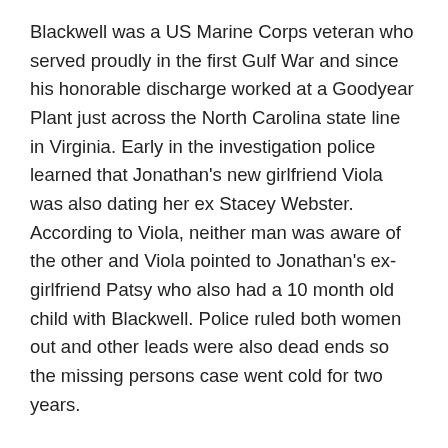Blackwell was a US Marine Corps veteran who served proudly in the first Gulf War and since his honorable discharge worked at a Goodyear Plant just across the North Carolina state line in Virginia. Early in the investigation police learned that Jonathan's new girlfriend Viola was also dating her ex Stacey Webster. According to Viola, neither man was aware of the other and Viola pointed to Jonathan's ex-girlfriend Patsy who also had a 10 month old child with Blackwell. Police ruled both women out and other leads were also dead ends so the missing persons case went cold for two years.
In December 2006, Walter Daldron was arrested and told police that he had information about the Jonathan Blackwell missing persons case. He told investigators that Jonathan's body was located off Highway 29 and buried in a shallow grave under some old tires. Police located the